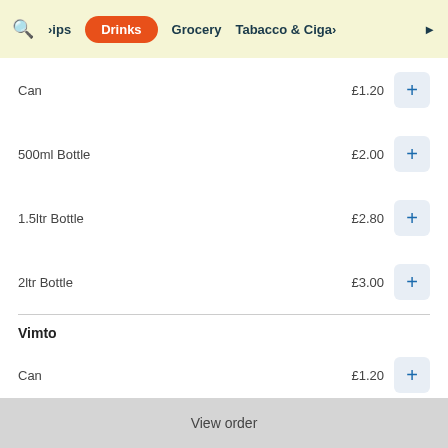Dips | Drinks | Grocery | Tabacco & Cigars
Can  £1.20
500ml Bottle  £2.00
1.5ltr Bottle  £2.80
2ltr Bottle  £3.00
Vimto
Can  £1.20
500ml Bottle  £2.00
View order